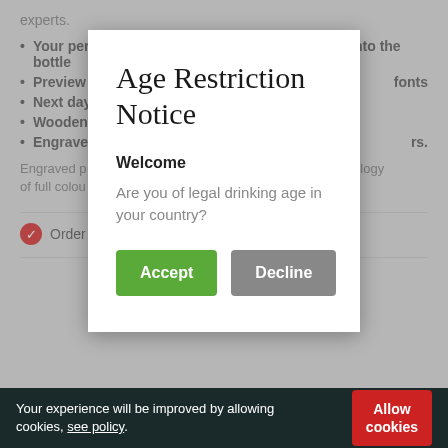experts.
Your personalised message expertly engraved onto the bottle
Preview yo … fonts
Next day d …
Wooden g …
Engraved … rs.
Engraved p … chnology of full colou …
Order m …
Age Restriction Notice
Welcome
Are you of legal drinking age in your country?
Accept | Decline
Your experience will be improved by allowing cookies, see policy.